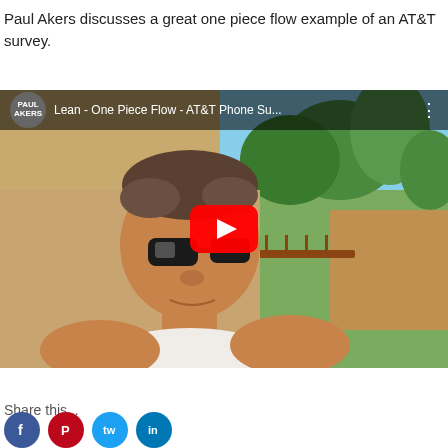Paul Akers discusses a great one piece flow example of an AT&T survey.
[Figure (screenshot): YouTube video thumbnail showing a man in a white tank top with sunglasses, outdoors. Video title: 'Lean - One Piece Flow - AT&T Phone Su...' by Paul Akers channel. Red YouTube play button overlay in center.]
Share this...
[Figure (illustration): Social media sharing icons: Facebook (blue circle), Pinterest (red circle), Twitter/social (teal circle), another social icon (blue circle)]